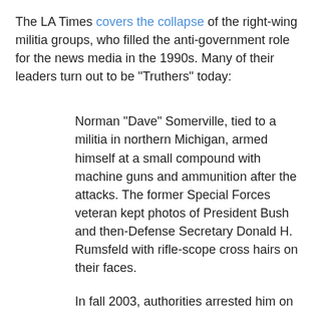The LA Times covers the collapse of the right-wing militia groups, who filled the anti-government role for the news media in the 1990s. Many of their leaders turn out to be "Truthers" today:
Norman "Dave" Somerville, tied to a militia in northern Michigan, armed himself at a small compound with machine guns and ammunition after the attacks. The former Special Forces veteran kept photos of President Bush and then-Defense Secretary Donald H. Rumsfeld with rifle-scope cross hairs on their faces.
In fall 2003, authorities arrested him on weapons charges. He is serving an 80-month sentence at a federal prison medical center in Kentucky and will be 55 by the time he gets out. His job is washing dishes. "Prison sucks," he lamented.
In an interview, he insisted his only crime was not registering his firearms, and he alleged that the